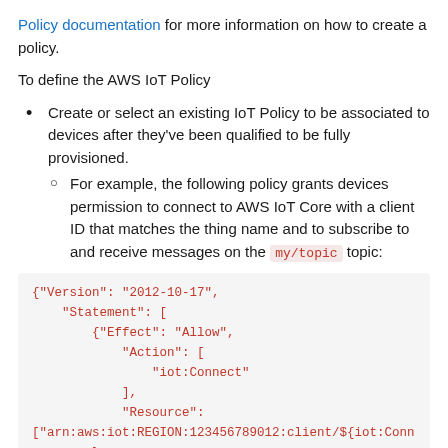Policy documentation for more information on how to create a policy.
To define the AWS IoT Policy
Create or select an existing IoT Policy to be associated to devices after they've been qualified to be fully provisioned.
For example, the following policy grants devices permission to connect to AWS IoT Core with a client ID that matches the thing name and to subscribe to and receive messages on the my/topic topic:
{"Version": "2012-10-17",
    "Statement": [
        {"Effect": "Allow",
            "Action": [
                "iot:Connect"
            ],
            "Resource":
["arn:aws:iot:REGION:123456789012:client/${iot:Conn
        }